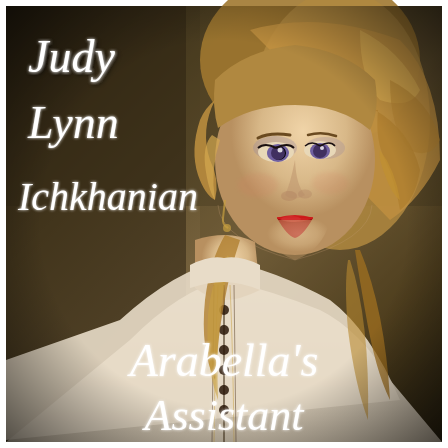[Figure (illustration): Book cover image showing a young woman with curly blonde/auburn hair, violet eyes, and red lips, wearing a Victorian-style white blouse with dark buttons and decorative trim. The background is dark olive/brown textured. The cover shows author name 'Judy Lynn Ichkhanian' in white italic script at the top left, and title 'Arabella's Assistant' in white italic script at the bottom.]
Judy Lynn Ichkhanian
Arabella's Assistant